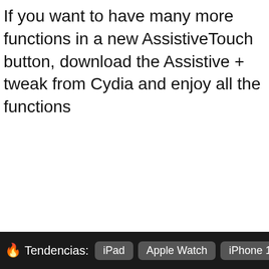If you want to have many more functions in a new AssistiveTouch button, download the Assistive + tweak from Cydia and enjoy all the functions
🔥 Tendencias: iPad  Apple Watch  iPhone 14  iC…